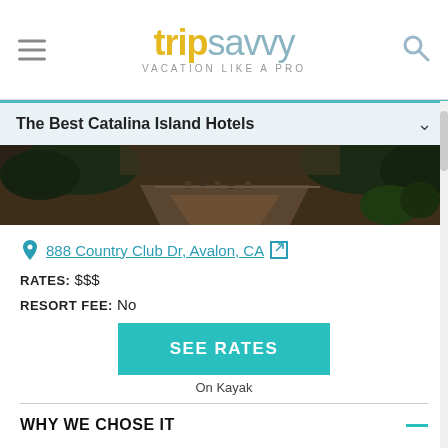trip savvy — VACATION LIKE A PRO
The Best Catalina Island Hotels
[Figure (photo): Outdoor patio area with chairs and trees, dark scenic photo]
888 Country Club Dr, Avalon, CA
RATES: $$$
RESORT FEE: No
SEE RATES
On Kayak
WHY WE CHOSE IT